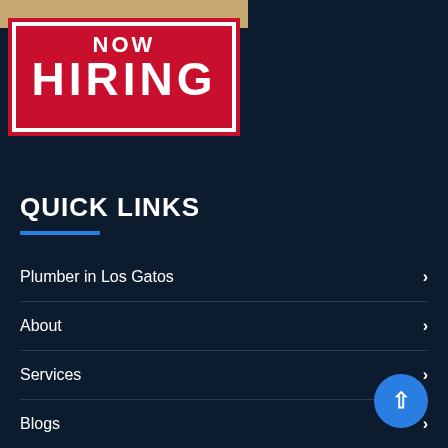[Figure (photo): Person holding a red 'NOW HIRING' sign — the bottom portion of the sign and hands are visible at the top of the page]
QUICK LINKS
Plumber in Los Gatos
About
Services
Blogs
Careers
Contact
Reviews